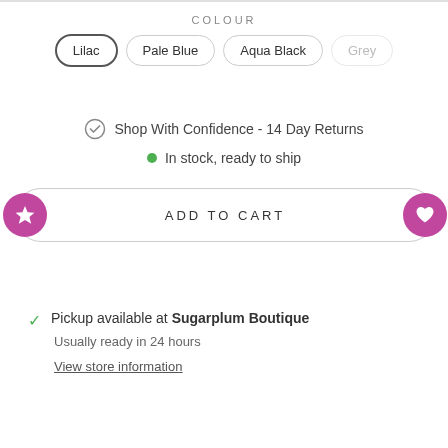COLOUR
Lilac | Pale Blue | Aqua Black | Grey
Shop With Confidence - 14 Day Returns
In stock, ready to ship
ADD TO CART
Pickup available at Sugarplum Boutique
Usually ready in 24 hours
View store information